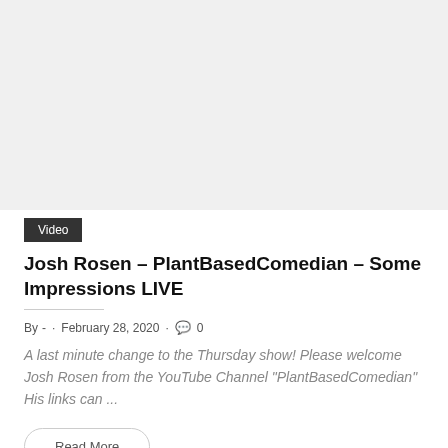[Figure (photo): Large white/light gray image placeholder area at top of article card]
Video
Josh Rosen – PlantBasedComedian – Some Impressions LIVE
By - . February 28, 2020 . 0
A last minute change to the Thursday show! Please welcome Josh Rosen from the YouTube Channel "PlantBasedComedian" His links can ...
Read More